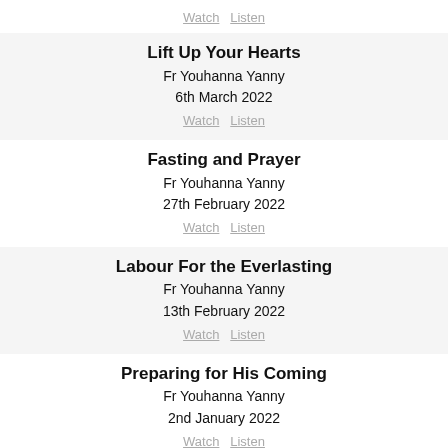Watch  Listen
Lift Up Your Hearts
Fr Youhanna Yanny
6th March 2022
Watch  Listen
Fasting and Prayer
Fr Youhanna Yanny
27th February 2022
Watch  Listen
Labour For the Everlasting
Fr Youhanna Yanny
13th February 2022
Watch  Listen
Preparing for His Coming
Fr Youhanna Yanny
2nd January 2022
Watch  Listen